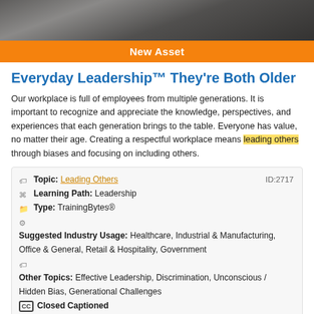[Figure (photo): Top photo showing hands writing or working at a desk, dark blurred background]
New Asset
Everyday Leadership™ They're Both Older
Our workplace is full of employees from multiple generations. It is important to recognize and appreciate the knowledge, perspectives, and experiences that each generation brings to the table. Everyone has value, no matter their age. Creating a respectful workplace means leading others through biases and focusing on including others.
Topic: Leading Others   ID:2717
Learning Path: Leadership
Type: TrainingBytes®
Suggested Industry Usage: Healthcare, Industrial & Manufacturing, Office & General, Retail & Hospitality, Government
Other Topics: Effective Leadership, Discrimination, Unconscious / Hidden Bias, Generational Challenges
Closed Captioned
[Figure (photo): Bottom photo showing a woman and boxes in a retail or warehouse setting]